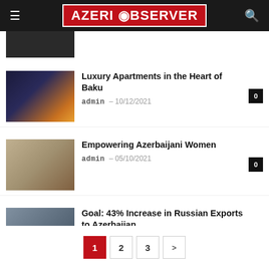AZERI OBSERVER
[Figure (photo): Partial thumbnail of a cropped article image at top]
Luxury Apartments in the Heart of Baku
admin - 10/12/2021
Empowering Azerbaijani Women
admin - 05/10/2021
Goal: 43% Increase in Russian Exports to Azerbaijan
admin - 24/05/2021
1 2 3 >